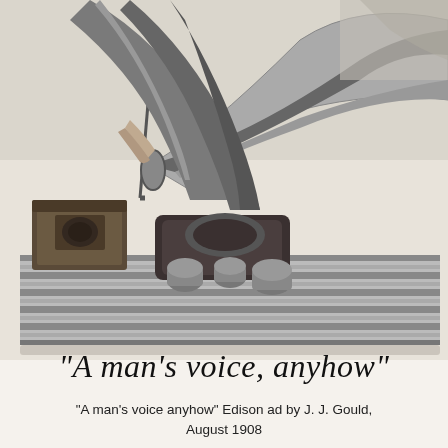[Figure (illustration): A vintage black-and-white illustration showing an early phonograph (Edison phonograph) with a large flared horn, cylindrical records on a striped rug/mat, and a wooden box unit. A draped figure is partially visible in the background. The scene is a period advertisement illustration circa 1908.]
"A man's voice, anyhow"
"A man's voice anyhow" Edison ad by J. J. Gould, August 1908